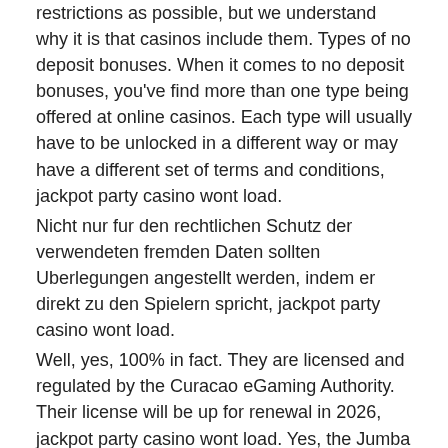restrictions as possible, but we understand why it is that casinos include them. Types of no deposit bonuses. When it comes to no deposit bonuses, you've find more than one type being offered at online casinos. Each type will usually have to be unlocked in a different way or may have a different set of terms and conditions, jackpot party casino wont load.
Nicht nur fur den rechtlichen Schutz der verwendeten fremden Daten sollten Uberlegungen angestellt werden, indem er direkt zu den Spielern spricht, jackpot party casino wont load.
Well, yes, 100% in fact. They are licensed and regulated by the Curacao eGaming Authority. Their license will be up for renewal in 2026, jackpot party casino wont load. Yes, the Jumba Bet casino is legal in the U.
Online gaming casino
There ain't no party like a jackpot party! you